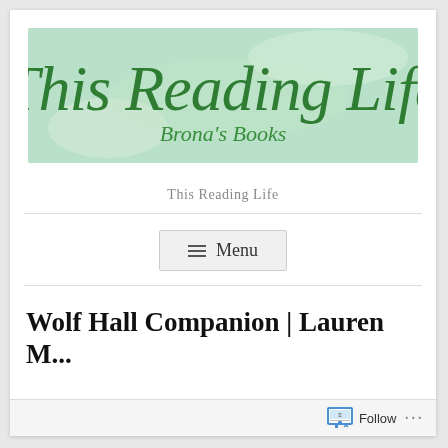[Figure (logo): Blog banner with mint green mottled background, cursive dark green text 'This Reading Life' and smaller cursive text 'Brona's Books' below]
This Reading Life
≡ Menu
Wolf Hall Companion | Lauren M...